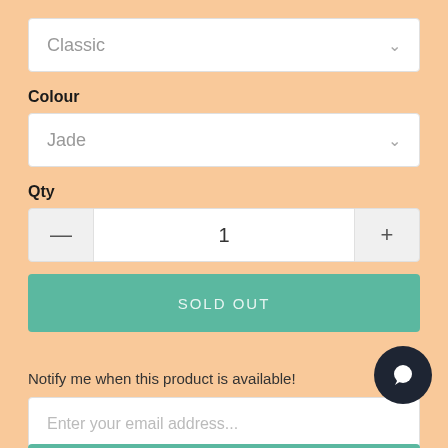[Figure (screenshot): Dropdown selector showing 'Classic' with chevron]
Colour
[Figure (screenshot): Dropdown selector showing 'Jade' with chevron]
Qty
[Figure (screenshot): Quantity stepper with minus button, value '1', and plus button]
[Figure (screenshot): SOLD OUT button in teal green]
Notify me when this product is available!
[Figure (screenshot): Email input field with placeholder 'Enter your email address...' and chat bubble icon]
[Figure (screenshot): Partial teal green button at bottom edge]